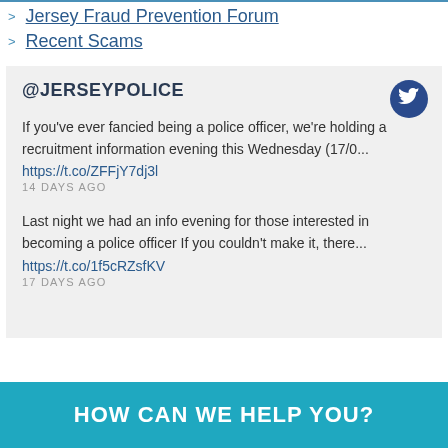Jersey Fraud Prevention Forum
Recent Scams
@JERSEYPOLICE
If you've ever fancied being a police officer, we're holding a recruitment information evening this Wednesday (17/0... https://t.co/ZFFjY7dj3l
14 DAYS AGO
Last night we had an info evening for those interested in becoming a police officer If you couldn't make it, there... https://t.co/1f5cRZsfKV
17 DAYS AGO
HOW CAN WE HELP YOU?